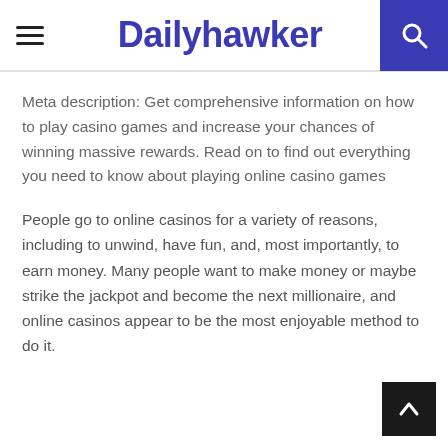Dailyhawker
Meta description: Get comprehensive information on how to play casino games and increase your chances of winning massive rewards. Read on to find out everything you need to know about playing online casino games
People go to online casinos for a variety of reasons, including to unwind, have fun, and, most importantly, to earn money. Many people want to make money or maybe strike the jackpot and become the next millionaire, and online casinos appear to be the most enjoyable method to do it.